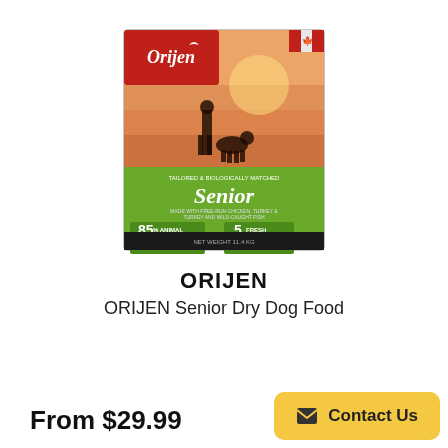[Figure (photo): ORIJEN Senior Dry Dog Food product box. Box has a red top section with the Orijen logo (white cursive text), a sunset/beach background showing a person and dog silhouette. Green lower section shows 'Senior' in script font, '85% ANIMAL INGREDIENTS', '5 FRESH OR RAW' callouts.]
ORIJEN
ORIJEN Senior Dry Dog Food
From $29.99
Contact Us